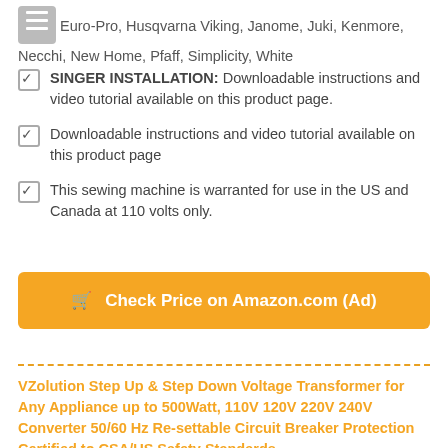Euro-Pro, Husqvarna Viking, Janome, Juki, Kenmore, Necchi, New Home, Pfaff, Simplicity, White
SINGER INSTALLATION: Downloadable instructions and video tutorial available on this product page.
Downloadable instructions and video tutorial available on this product page
This sewing machine is warranted for use in the US and Canada at 110 volts only.
[Figure (other): Orange button: Check Price on Amazon.com (Ad)]
VZolution Step Up & Step Down Voltage Transformer for Any Appliance up to 500Watt, 110V 120V 220V 240V Converter 50/60 Hz Re-settable Circuit Breaker Protection Certified to CSA/US Safety Standards